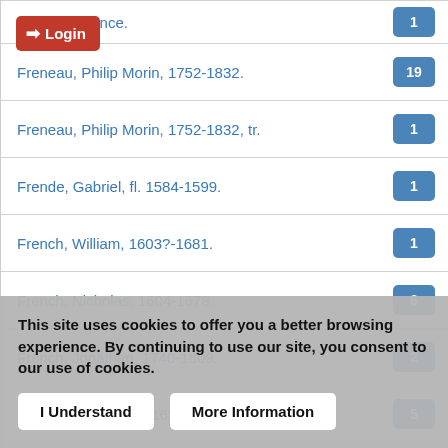...independence.
Freneau, Philip Morin, 1752-1832.
Freneau, Philip Morin, 1752-1832, tr.
Frende, Gabriel, fl. 1584-1599.
French, William, 1603?-1681.
French, Nicholas, 1604-1678.
French, Jonathan, 1740-1809.
French, John, 1616-1657.
French minister.
This site uses cookies to offer you a better browsing experience. By continuing to use our site, you consent to our use of cookies.